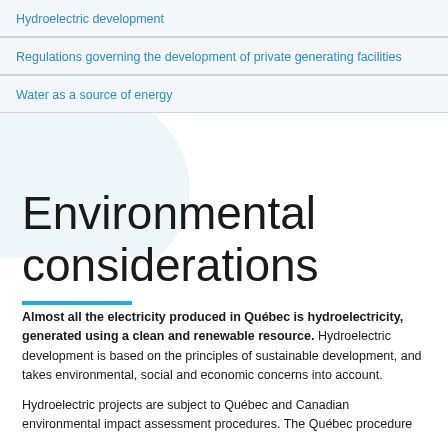Hydroelectric development
Regulations governing the development of private generating facilities
Water as a source of energy
Environmental considerations
Almost all the electricity produced in Québec is hydroelectricity, generated using a clean and renewable resource. Hydroelectric development is based on the principles of sustainable development, and takes environmental, social and economic concerns into account.
Hydroelectric projects are subject to Québec and Canadian environmental impact assessment procedures. The Québec procedure